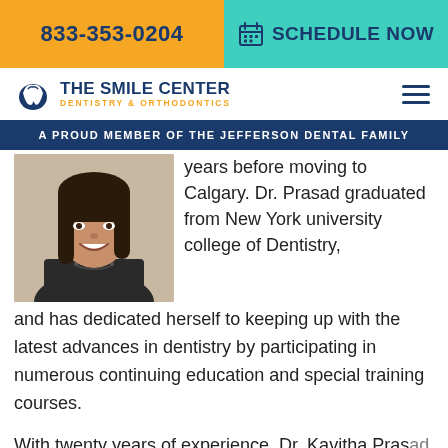833-353-0204 | SCHEDULE NOW
[Figure (logo): The Smile Center Dentistry & Orthodontics logo with tooth icon]
A PROUD MEMBER OF THE JEFFERSON DENTAL FAMILY
[Figure (photo): Portrait photo of Dr. Kavitha Prasad, a female dentist with dark hair, smiling, wearing a dark top and necklace]
years before moving to Calgary. Dr. Prasad graduated from New York university college of Dentistry, and has dedicated herself to keeping up with the latest advances in dentistry by participating in numerous continuing education and special training courses.
With twenty years of experience, Dr. Kavitha Prasad is an advanced dentist, providing a wide range of general, cosmetic, pedodontic, restorative, and orthodontic care.